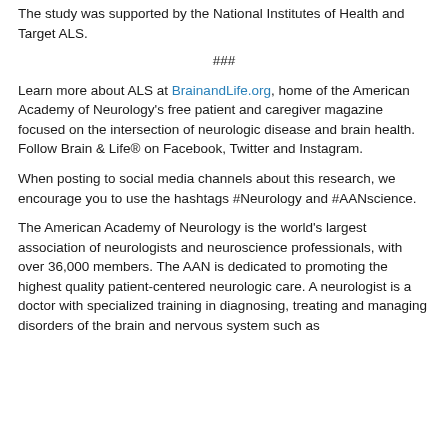The study was supported by the National Institutes of Health and Target ALS.
###
Learn more about ALS at BrainandLife.org, home of the American Academy of Neurology's free patient and caregiver magazine focused on the intersection of neurologic disease and brain health. Follow Brain & Life® on Facebook, Twitter and Instagram.
When posting to social media channels about this research, we encourage you to use the hashtags #Neurology and #AANscience.
The American Academy of Neurology is the world's largest association of neurologists and neuroscience professionals, with over 36,000 members. The AAN is dedicated to promoting the highest quality patient-centered neurologic care. A neurologist is a doctor with specialized training in diagnosing, treating and managing disorders of the brain and nervous system such as